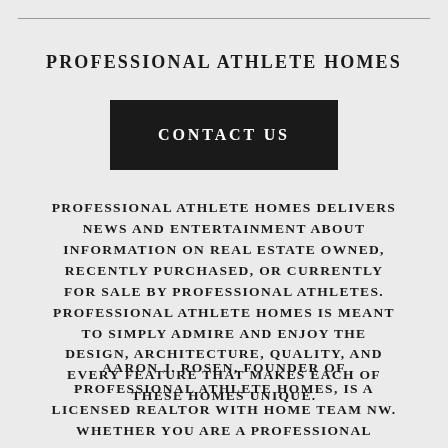PROFESSIONAL ATHLETE HOMES
[Figure (other): Dark button with text CONTACT US]
PROFESSIONAL ATHLETE HOMES DELIVERS NEWS AND ENTERTAINMENT ABOUT INFORMATION ON REAL ESTATE OWNED, RECENTLY PURCHASED, OR CURRENTLY FOR SALE BY PROFESSIONAL ATHLETES. PROFESSIONAL ATHLETE HOMES IS MEANT TO SIMPLY ADMIRE AND ENJOY THE DESIGN, ARCHITECTURE, QUALITY, AND EVERY FEATURE THAT MAKES EACH OF THESE HOMES UNIQUE.
AARON J. ROSEN, FOUNDER OF PROFESSIONAL ATHLETE HOMES, IS A LICENSED REALTOR WITH HOME TEAM NW. WHETHER YOU ARE A PROFESSIONAL ATHLETE OR NOT, AARON IS HERE TO